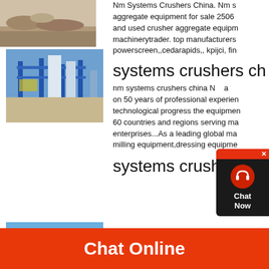[Figure (photo): Aerial or ground-level photo of a quarry or mining site with rocky terrain]
Nm Systems Crushers China. Nm s aggregate equipment for sale 2506 and used crusher aggregate equipm machinerytrader. top manufacturers powerscreen,,cedarapids,, kpijci, fin
[Figure (photo): Industrial crusher/aggregate plant with blue metal framework structures against a blue sky]
systems crushers ch
nm systems crushers china N a on 50 years of professional experien technological progress the equipmen 60 countries and regions serving ma enterprises...As a leading global ma milling equipment,dressing equipme
systems crushers china
[Figure (photo): Partial view of blue construction or mining equipment against blue sky]
[Figure (infographic): Chat Now widget overlay with red background, headset icon, and close button]
Chat Online